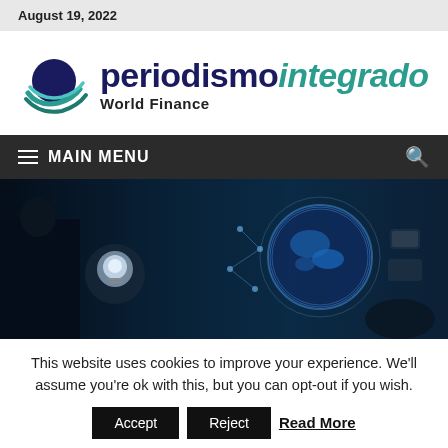August 19, 2022
[Figure (logo): Periodismo Integrado World Finance logo with globe-like icon and stylized text]
≡ MAIN MENU
[Figure (photo): Hero banner image showing a person with a lightbulb and a glowing globe with digital network icons]
This website uses cookies to improve your experience. We'll assume you're ok with this, but you can opt-out if you wish.
Accept   Reject   Read More